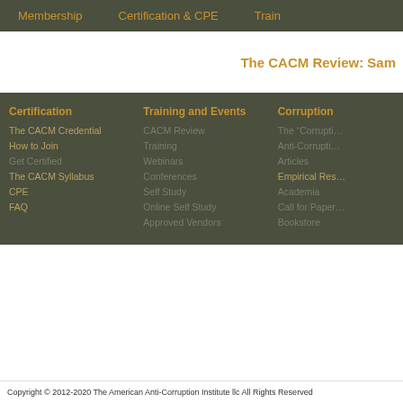Membership   Certification & CPE   Train
The CACM Review: Sam
Certification
The CACM Credential
How to Join
Get Certified
The CACM Syllabus
CPE
FAQ
Training and Events
CACM Review
Training
Webinars
Conferences
Self Study
Online Self Study
Approved Vendors
Corruption
The “Corrupti…
Anti-Corrupti…
Articles
Empirical Res…
Academia
Call for Paper…
Bookstore
Copyright © 2012-2020 The American Anti-Corruption Institute llc All Rights Reserved